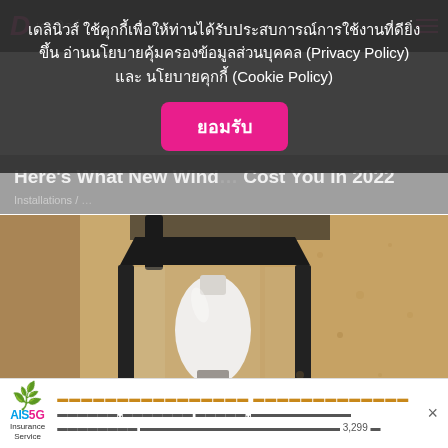เดลินิวส์
เดลินิวส์ ใช้คุกกี้เพื่อให้ท่านได้รับประสบการณ์การใช้งานที่ดียิ่งขึ้น อ่านนโยบายคุ้มครองข้อมูลส่วนบุคคล (Privacy Policy) และ นโยบายคุกกี้ (Cookie Policy)
ยอมรับ
Here's What New Wind... Cost You In 2022
[Figure (photo): Close-up photograph of an outdoor wall lantern with a white light bulb visible inside a black metal frame, mounted on a textured stucco wall]
AIS 5G Insurance Service - ad banner with Thai text and price 3,299